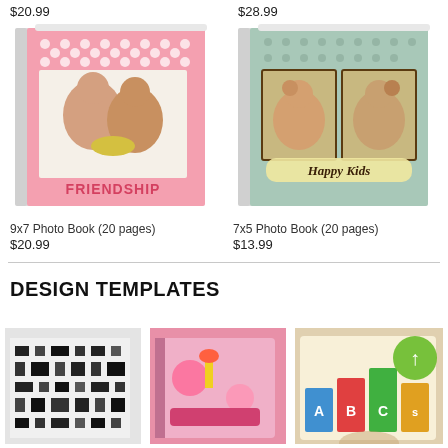$20.99
$28.99
[Figure (photo): 9x7 Photo Book with pink polka dot cover showing two children and text FRIENDSHIP]
[Figure (photo): 7x5 Photo Book with teal polka dot cover showing family photos and text Happy Kids]
9x7 Photo Book (20 pages)
$20.99
7x5 Photo Book (20 pages)
$13.99
DESIGN TEMPLATES
[Figure (photo): Black and white mosaic/grid pattern photo book template]
[Figure (photo): Pink colorful birthday/celebration photo book template]
[Figure (photo): ABCs educational colorful photo book template]